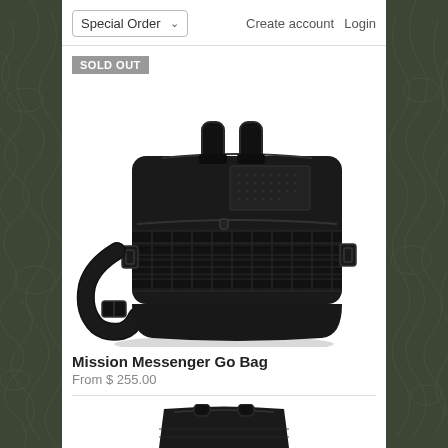Special Order   Create account   Login
SOLD OUT
[Figure (photo): Black tactical messenger bag with MOLLE webbing, top carry handles, shoulder strap, front zipper pocket, and velcro patch panel.]
Mission Messenger Go Bag
From $ 255.00
[Figure (photo): Partial view of another product bag at the bottom of the page.]